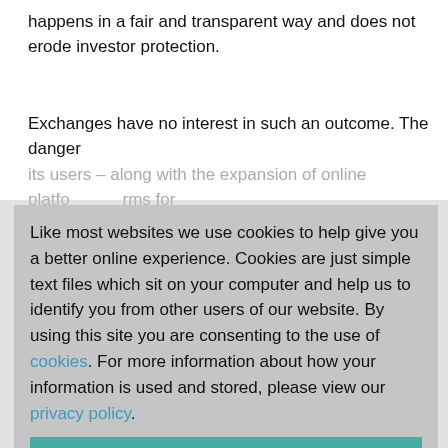happens in a fair and transparent way and does not erode investor protection.
Exchanges have no interest in such an outcome. The danger its users – along with the expansion of online platforms for [obscured] opportunities [obscured] ing.
Like most websites we use cookies to help give you a better online experience. Cookies are just simple text files which sit on your computer and help us to identify you from other users of our website. By using this site you are consenting to the use of cookies. For more information about how your information is used and stored, please view our privacy policy.
Accept & Continue
This world [obscured] is something we need to do together if possible. We are only